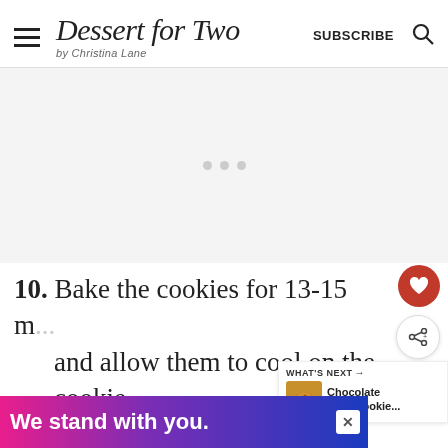Dessert for Two by Christina Lane — SUBSCRIBE
[Figure (screenshot): Advertisement placeholder area with light gray background and three small gray dots]
10. Bake the cookies for 13-15 m... and allow them to cool on the cookie
[Figure (infographic): Bottom banner ad: 'We stand with you.' on gradient pink-purple-blue background with close button]
[Figure (other): WHAT'S NEXT panel with Chocolate Chip Cookie... and cookie thumbnail image]